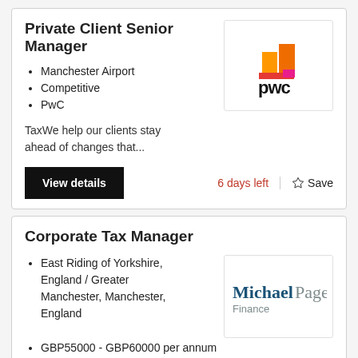Private Client Senior Manager
Manchester Airport
Competitive
PwC
[Figure (logo): PwC logo with orange/red stacked blocks graphic and 'pwc' wordmark in black]
TaxWe help our clients stay ahead of changes that...
View details
6 days left
☆ Save
Corporate Tax Manager
East Riding of Yorkshire, England / Greater Manchester, Manchester, England
[Figure (logo): Michael Page Finance logo in blue and grey]
GBP55000 - GBP60000 per annum